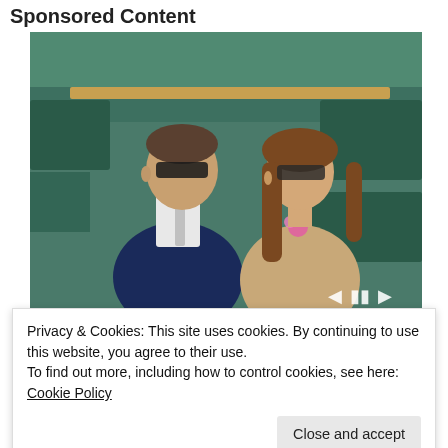Sponsored Content
[Figure (photo): Two people seated at what appears to be a sporting event (Wimbledon). A man in a navy suit with a grey tie and sunglasses sits next to a woman with long brown hair wearing sunglasses and a beige lace top with a pink flower. Media player controls (previous, pause, next) are visible overlaid on the image, along with a progress bar at the bottom. A caption bar at the bottom reads '[Photos] Meet The Girlfriends Of The']
Privacy & Cookies: This site uses cookies. By continuing to use this website, you agree to their use.
To find out more, including how to control cookies, see here: Cookie Policy
Close and accept